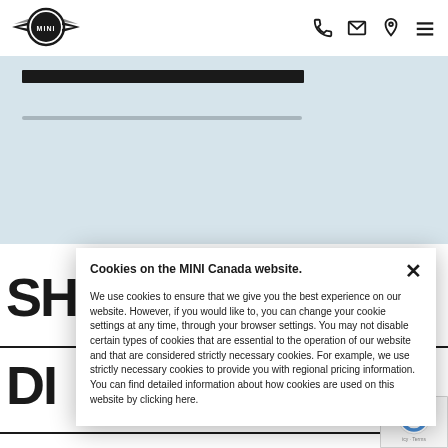[Figure (logo): MINI brand logo with wings]
[Figure (infographic): Header navigation icons: phone, email/envelope, location pin, hamburger menu]
[Figure (illustration): Light blue hero area with black progress/search bar and grey secondary bar]
SH
DI
Cookies on the MINI Canada website.
We use cookies to ensure that we give you the best experience on our website. However, if you would like to, you can change your cookie settings at any time, through your browser settings. You may not disable certain types of cookies that are essential to the operation of our website and that are considered strictly necessary cookies. For example, we use strictly necessary cookies to provide you with regional pricing information. You can find detailed information about how cookies are used on this website by clicking here.